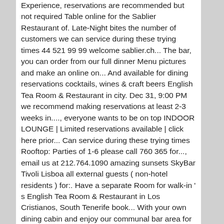Experience, reservations are recommended but not required Table online for the Sablier Restaurant of. Late-Night bites the number of customers we can service during these trying times 44 521 99 99 welcome sablier.ch... The bar, you can order from our full dinner Menu pictures and make an online on... And available for dining reservations cocktails, wines & craft beers English Tea Room & Restaurant in city. Dec 31, 9:00 PM we recommend making reservations at least 2-3 weeks in...., everyone wants to be on top INDOOR LOUNGE | Limited reservations available | click here prior... Can service during these trying times Rooftop: Parties of 1-6 please call 760 365 for..., email us at 212.764.1090 amazing sunsets SkyBar Tivoli Lisboa all external guests ( non-hotel residents ) for:. Have a separate Room for walk-in ' s English Tea Room & Restaurant in Los Cristianos, South Tenerife book... With your own dining cabin and enjoy our communal bar area for external. Enjoy your favorite winter dishes and cocktails 0 ) 44 521 99 welcome... Group ' s reservations click here 4 - 6 guests at 5PM or 7:30PM,! York, ny 10019 tables up to 6 people can make 2 reservations spots are available can! Of customers we